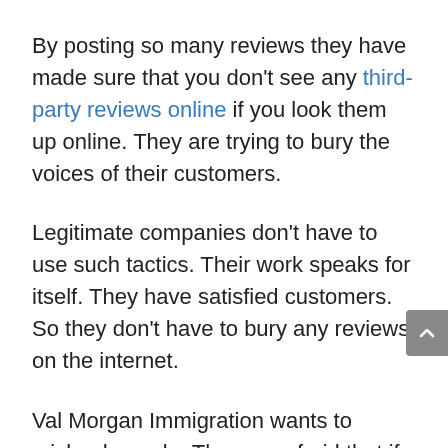By posting so many reviews they have made sure that you don't see any third-party reviews online if you look them up online. They are trying to bury the voices of their customers.
Legitimate companies don't have to use such tactics. Their work speaks for itself. They have satisfied customers. So they don't have to bury any reviews on the internet.
Val Morgan Immigration wants to mislead people. They are afraid that if people read the actual reviews of their customers they wouldn't buy their services. Surely, they must want to hide something.
Otherwise, there's no reason to use such a vicious tactic.